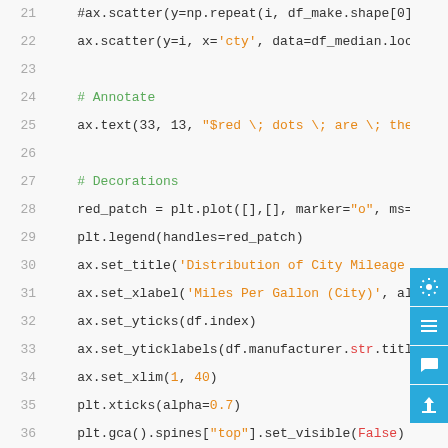Code snippet lines 21-41 showing Python matplotlib code for scatter plot and chart decorations
[Figure (screenshot): Right sidebar with settings, list, comment, and upload buttons in cyan/blue]